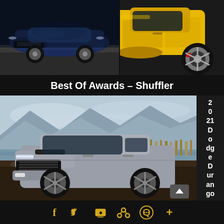[Figure (photo): Blue sports/luxury car (Buick) front view on dark background]
[Figure (photo): Yellow sports car (Porsche) side/rear view showing wheel and body]
Best Of Awards – Shuffler
[Figure (photo): 2021 Dodge Durango silver SUV parked near a lake with mountains in background]
2 0 21 D o dg e D ur an go
[Figure (infographic): Social media share icons row: Facebook, Twitter, car/share icon, Pinterest, WhatsApp, plus]